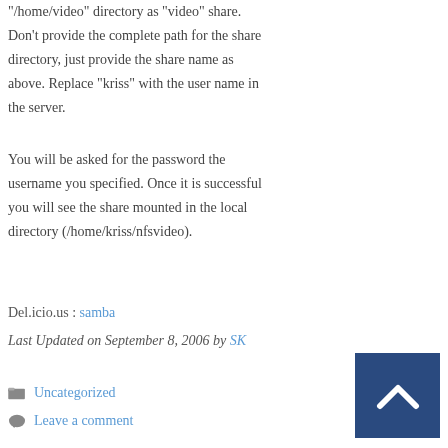"/home/video" directory as "video" share. Don't provide the complete path for the share directory, just provide the share name as above. Replace "kriss" with the user name in the server.
You will be asked for the password the username you specified. Once it is successful you will see the share mounted in the local directory (/home/kriss/nfsvideo).
Del.icio.us : samba
Last Updated on September 8, 2006 by SK
Uncategorized
Leave a comment